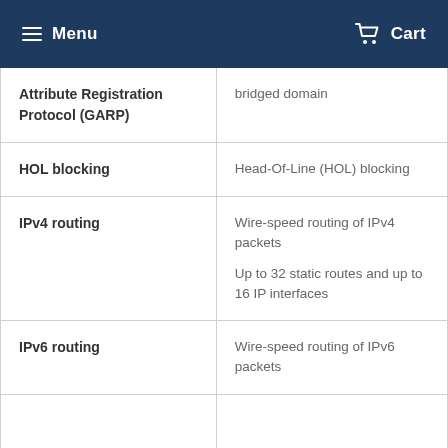Menu  Cart
| Attribute Registration Protocol (GARP) | bridged domain |
| HOL blocking | Head-Of-Line (HOL) blocking |
| IPv4 routing | Wire-speed routing of IPv4 packets
Up to 32 static routes and up to 16 IP interfaces |
| IPv6 routing | Wire-speed routing of IPv6 packets |
|  |  |